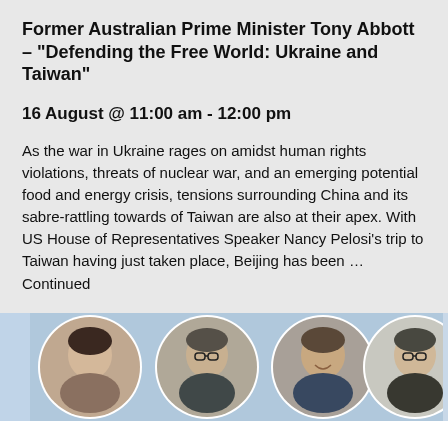Former Australian Prime Minister Tony Abbott – "Defending the Free World: Ukraine and Taiwan"
16 August @ 11:00 am - 12:00 pm
As the war in Ukraine rages on amidst human rights violations, threats of nuclear war, and an emerging potential food and energy crisis, tensions surrounding China and its sabre-rattling towards of Taiwan are also at their apex. With US House of Representatives Speaker Nancy Pelosi's trip to Taiwan having just taken place, Beijing has been ... Continued
[Figure (photo): Strip of four circular portrait photos and one partial photo of speakers/panelists on a light blue background]